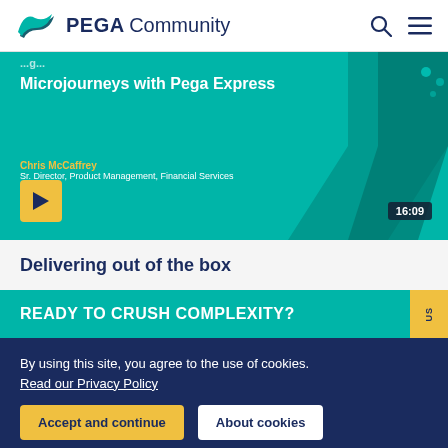PEGA Community
[Figure (screenshot): Video thumbnail for 'Microjourneys with Pega Express' featuring Chris McCaffrey, Sr. Director, Product Management, Financial Services. Teal background with chevron decoration, play button, and 16:09 duration badge.]
Delivering out of the box
READY TO CRUSH COMPLEXITY?
By using this site, you agree to the use of cookies.
Read our Privacy Policy
Accept and continue
About cookies